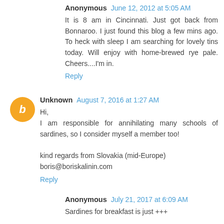Anonymous  June 12, 2012 at 5:05 AM
It is 8 am in Cincinnati. Just got back from Bonnaroo. I just found this blog a few mins ago. To heck with sleep I am searching for lovely tins today. Will enjoy with home-brewed rye pale. Cheers....I'm in.
Reply
Unknown  August 7, 2016 at 1:27 AM
Hi,
I am responsible for annihilating many schools of sardines, so I consider myself a member too!

kind regards from Slovakia (mid-Europe)
boris@boriskalinin.com
Reply
Anonymous  July 21, 2017 at 6:09 AM
Sardines for breakfast is just +++